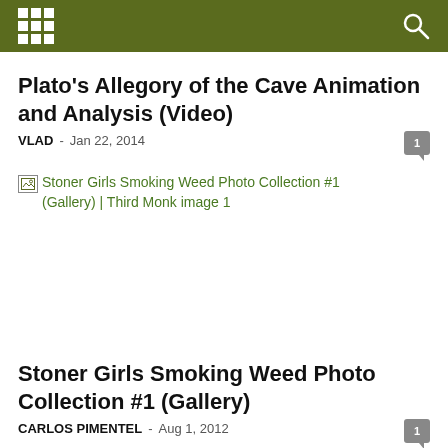Navigation bar with grid icon and search icon
Plato’s Allegory of the Cave Animation and Analysis (Video)
VLAD - Jan 22, 2014
[Figure (screenshot): Broken image placeholder for Stoner Girls Smoking Weed Photo Collection #1 (Gallery) | Third Monk image 1]
Stoner Girls Smoking Weed Photo Collection #1 (Gallery)
CARLOS PIMENTEL - Aug 1, 2012